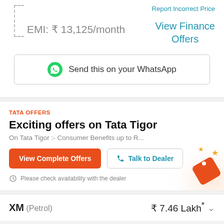Report Incorrect Price
EMI: ₹ 13,125/month
View Finance Offers
Send this on your WhatsApp
TATA OFFERS
Exciting offers on Tata Tigor
On Tata Tigor :- Consumer Benefits up to R...
View Complete Offers
Talk to Dealer
Please check availability with the dealer
XM (Petrol)   ₹ 7.46 Lakh*